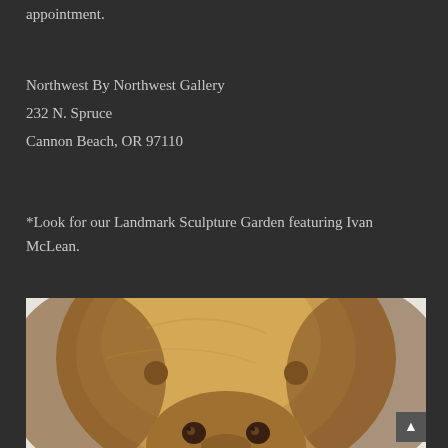appointment.
Northwest By Northwest Gallery
232 N. Spruce
Cannon Beach, OR 97110
*Look for our Landmark Sculpture Garden featuring Ivan McLean.
[Figure (photo): Close-up photograph of a bronze bear sculpture, showing the rounded back and head of the bear with detailed facial features including eyes and ears, warm brown-gold patina tones against a neutral background.]